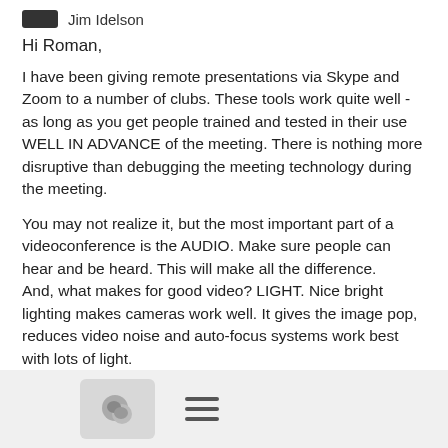Jim Idelson
Hi Roman,
I have been giving remote presentations via Skype and Zoom to a number of clubs. These tools work quite well - as long as you get people trained and tested in their use WELL IN ADVANCE of the meeting. There is nothing more disruptive than debugging the meeting technology during the meeting.
You may not realize it, but the most important part of a videoconference is the AUDIO. Make sure people can hear and be heard. This will make all the difference.
And, what makes for good video? LIGHT. Nice bright lighting makes cameras work well. It gives the image pop, reduces video noise and auto-focus systems work best with lots of light.
These are the steps:
Choose the technology you want to use - evaluate several and pick one you like.
[Figure (other): Bottom navigation bar with chat icon button and hamburger menu icon]